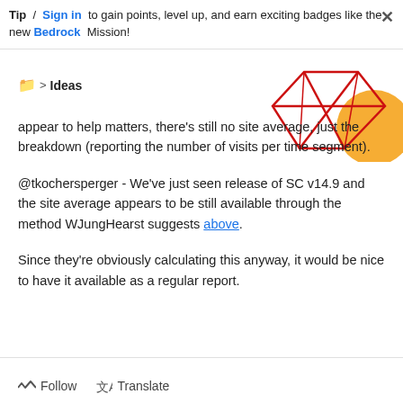Tip / Sign in to gain points, level up, and earn exciting badges like the new Bedrock Mission!
📁 > Ideas
[Figure (illustration): Decorative geometric illustration in top right corner — red wireframe diamond/gem shape and orange circle on white background]
appear to help matters, there's still no site average, just the breakdown (reporting the number of visits per time segment).
@tkochersperger - We've just seen release of SC v14.9 and the site average appears to be still available through the method WJungHearst suggests above.
Since they're obviously calculating this anyway, it would be nice to have it available as a regular report.
Follow   Translate